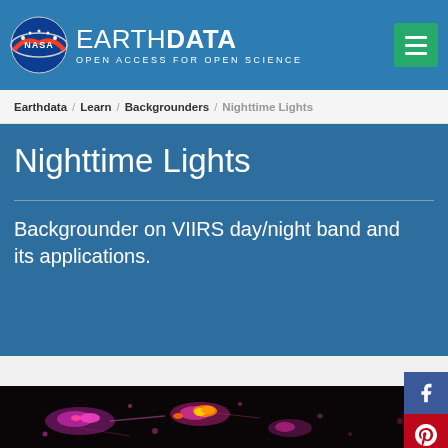EARTHDATA — OPEN ACCESS FOR OPEN SCIENCE
Earthdata / Learn / Backgrounders / Nighttime Lights
Nighttime Lights
Backgrounder on VIIRS day/night band and its applications.
[Figure (photo): Nighttime satellite image showing city lights and urban areas in purple, magenta, and orange colors against a dark background]